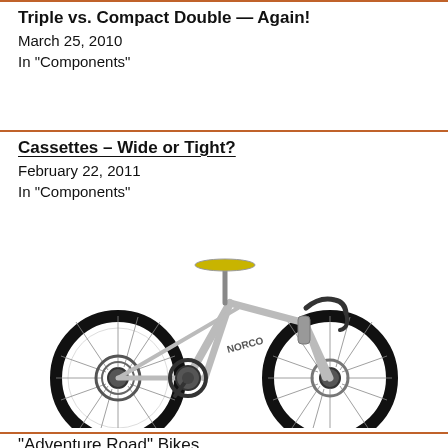Triple vs. Compact Double — Again!
March 25, 2010
In "Components"
Cassettes – Wide or Tight?
February 22, 2011
In "Components"
[Figure (photo): A silver Norco road/adventure bike with drop handlebars, disc brakes, and wide tires, shown in profile against a white background.]
"Adventure Road" Bikes